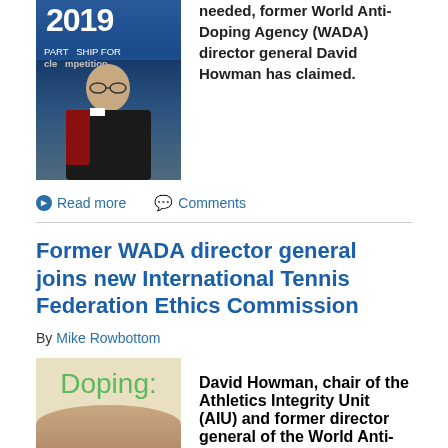[Figure (photo): Photo of David Howman at a 2019 WADA Partnership for Clean Competition event, gesturing while holding papers]
needed, former World Anti-Doping Agency (WADA) director general David Howman has claimed.
Read more   Comments
Former WADA director general joins new International Tennis Federation Ethics Commission
By Mike Rowbottom
[Figure (photo): Book or publication cover showing 'Doping:' text with a person below]
David Howman, chair of the Athletics Integrity Unit (AIU) and former director general of the World Anti-Doping Agency, is among four appointments to the International Tennis Federation